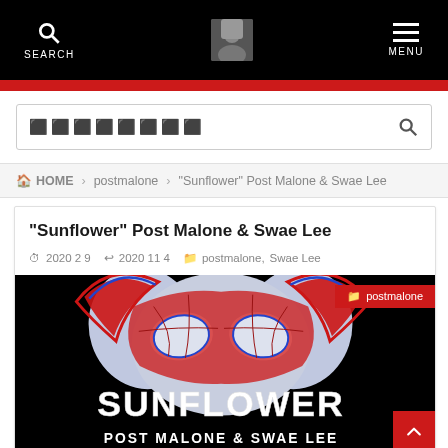SEARCH | [avatar] | MENU
🔍🔍🔍🔍🔍🔍🔍🔍 [search box]
🏠 HOME > postmalone > "Sunflower" Post Malone & Swae Lee
“Sunflower” Post Malone & Swae Lee
⏰ 2020 2 9  ↩2020 11 4  📁 postmalone, Swae Lee
[Figure (photo): Spider-Man: Into the Spider-Verse movie poster art showing the Sunflower song artwork — stylized spider-man mask in red/blue with SUNFLOWER text and POST MALONE & SWAE LEE text below, on a black background. A red badge reads 'postmalone' in the top right corner.]